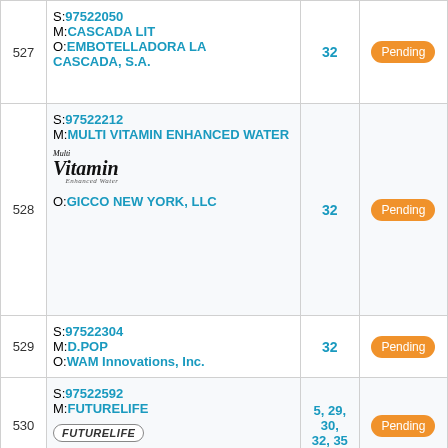| # | Details | Class | Status |
| --- | --- | --- | --- |
| 527 | S:97522050 M:CASCADA LIT O:EMBOTELLADORA LA CASCADA, S.A. | 32 | Pending |
| 528 | S:97522212 M:MULTI VITAMIN ENHANCED WATER O:GICCO NEW YORK, LLC | 32 | Pending |
| 529 | S:97522304 M:D.POP O:WAM Innovations, Inc. | 32 | Pending |
| 530 | S:97522592 M:FUTURELIFE O:Saad, Paul Anthony | 5, 29, 30, 32, 35 | Pending |
|  | S:97523190 | 3, 5, 8, 21, 29, 30, 31 |  |